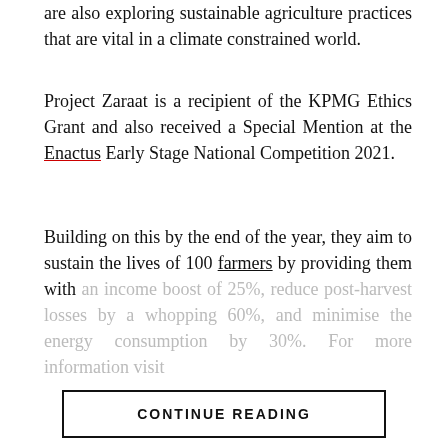are also exploring sustainable agriculture practices that are vital in a climate constrained world.
Project Zaraat is a recipient of the KPMG Ethics Grant and also received a Special Mention at the Enactus Early Stage National Competition 2021.
Building on this by the end of the year, they aim to sustain the lives of 100 farmers by providing them with an income boost of 25%, reduce post-harvest losses by a whopping 60%, and minimise the energy consumption by 30%. For more information visit
CONTINUE READING
FEATURED